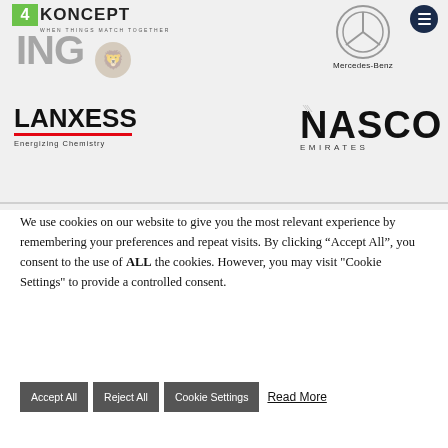[Figure (logo): 4KONCEPT logo with green box containing '4' and text 'KONCEPT', tagline 'WHEN THINGS MATCH TOGETHER']
[Figure (logo): ING logo in large grey letters with lion graphic]
[Figure (logo): Mercedes-Benz logo with three-pointed star circle and text 'Mercedes-Benz']
[Figure (logo): LANXESS logo with text 'LANXESS', red underline, and tagline 'Energizing Chemistry']
[Figure (logo): NASCO EMIRATES logo in large bold letters]
We use cookies on our website to give you the most relevant experience by remembering your preferences and repeat visits. By clicking “Accept All”, you consent to the use of ALL the cookies. However, you may visit "Cookie Settings" to provide a controlled consent.
Accept All   Reject All   Cookie Settings   Read More